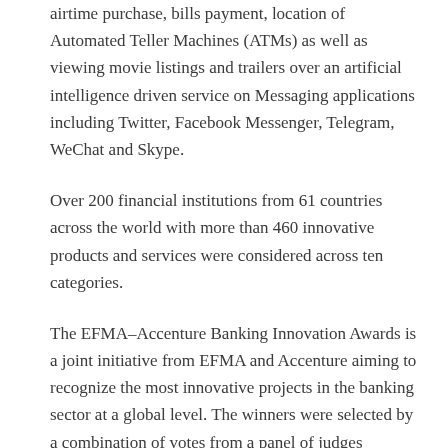airtime purchase, bills payment, location of Automated Teller Machines (ATMs) as well as viewing movie listings and trailers over an artificial intelligence driven service on Messaging applications including Twitter, Facebook Messenger, Telegram, WeChat and Skype.
Over 200 financial institutions from 61 countries across the world with more than 460 innovative products and services were considered across ten categories.
The EFMA–Accenture Banking Innovation Awards is a joint initiative from EFMA and Accenture aiming to recognize the most innovative projects in the banking sector at a global level. The winners were selected by a combination of votes from a panel of judges comprised of senior bankers from around the world and online votes from EFMA members and non-members.
Presenting the Award to the Chief Evangelist for Chatpay, Gbenga